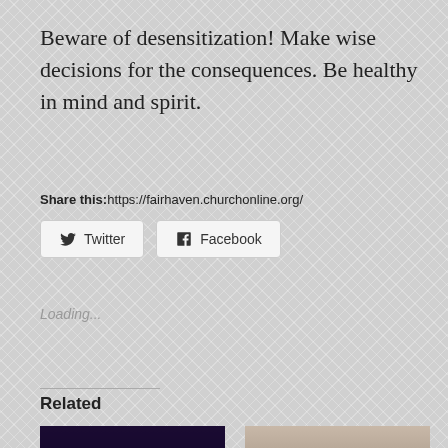Beware of desensitization! Make wise decisions for the consequences. Be healthy in mind and spirit.
Share this:https://fairhaven.churchonline.org/
[Figure (screenshot): Twitter share button with bird icon]
[Figure (screenshot): Facebook share button with 'f' icon]
Loading...
Related
[Figure (photo): Photo of a blue gas flame on a stove burner]
[Figure (photo): Photo of a bearded man with hand on his head, sitting in front of chess pieces]